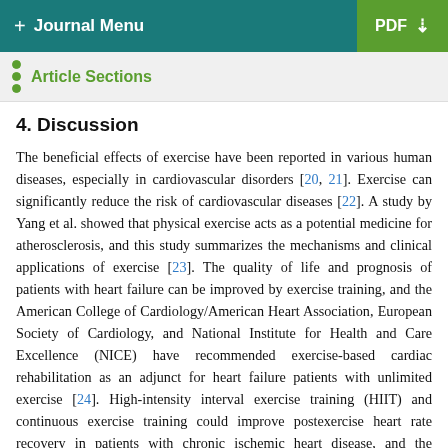+ Journal Menu   PDF ↓
Article Sections
4. Discussion
The beneficial effects of exercise have been reported in various human diseases, especially in cardiovascular disorders [20, 21]. Exercise can significantly reduce the risk of cardiovascular diseases [22]. A study by Yang et al. showed that physical exercise acts as a potential medicine for atherosclerosis, and this study summarizes the mechanisms and clinical applications of exercise [23]. The quality of life and prognosis of patients with heart failure can be improved by exercise training, and the American College of Cardiology/American Heart Association, European Society of Cardiology, and National Institute for Health and Care Excellence (NICE) have recommended exercise-based cardiac rehabilitation as an adjunct for heart failure patients with unlimited exercise [24]. High-intensity interval exercise training (HIIT) and continuous exercise training could improve postexercise heart rate recovery in patients with chronic ischemic heart disease, and the beneficial effects of HIIT